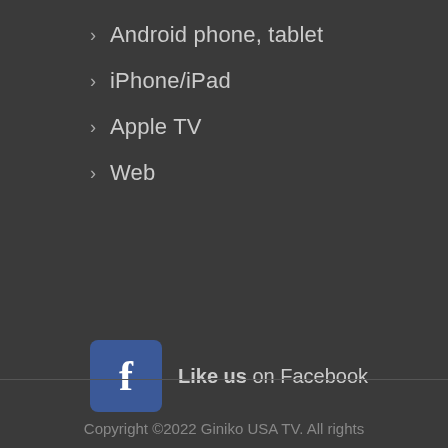Android phone, tablet
iPhone/iPad
Apple TV
Web
[Figure (logo): Facebook logo icon — blue rounded square with white 'f' letter]
Like us on Facebook
Copyright ©2022  Giniko USA TV. All rights